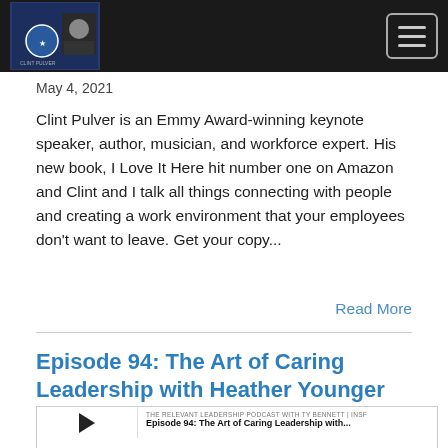May 4, 2021
Clint Pulver is an Emmy Award-winning keynote speaker, author, musician, and workforce expert. His new book, I Love It Here hit number one on Amazon and Clint and I talk all things connecting with people and creating a work environment that your employees don't want to leave. Get your copy...
Read More
Episode 94: The Art of Caring Leadership with Heather Younger
[Figure (screenshot): Podcast player widget showing Episode 94: The Art of Caring Leadership with... on THE RELEVANT LEADERSHIP PODCAST WITH TY BENNETT | INSF. Shows play button, progress bar at 00:00:00, and player control icons.]